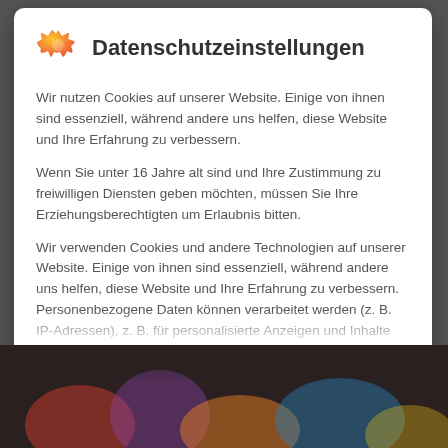Datenschutzeinstellungen
Wir nutzen Cookies auf unserer Website. Einige von ihnen sind essenziell, während andere uns helfen, diese Website und Ihre Erfahrung zu verbessern.
Wenn Sie unter 16 Jahre alt sind und Ihre Zustimmung zu freiwilligen Diensten geben möchten, müssen Sie Ihre Erziehungsberechtigten um Erlaubnis bitten.
Wir verwenden Cookies und andere Technologien auf unserer Website. Einige von ihnen sind essenziell, während andere uns helfen, diese Website und Ihre Erfahrung zu verbessern. Personenbezogene Daten können verarbeitet werden (z. B. IP-Adressen), z. B. für personalisierte Anzeigen und Inhalte oder
Essenziell
Externe Medien
[Figure (photo): Background photo of people at bottom of page, partially visible, with colorful elements]